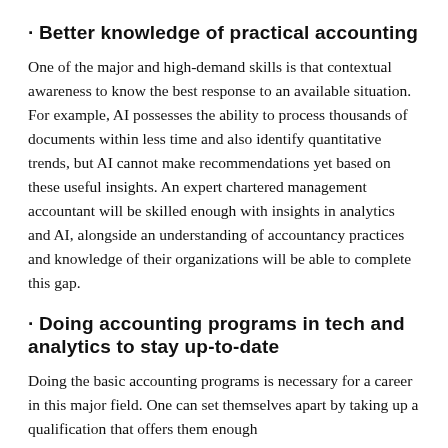· Better knowledge of practical accounting
One of the major and high-demand skills is that contextual awareness to know the best response to an available situation. For example, AI possesses the ability to process thousands of documents within less time and also identify quantitative trends, but AI cannot make recommendations yet based on these useful insights. An expert chartered management accountant will be skilled enough with insights in analytics and AI, alongside an understanding of accountancy practices and knowledge of their organizations will be able to complete this gap.
· Doing accounting programs in tech and analytics to stay up-to-date
Doing the basic accounting programs is necessary for a career in this major field. One can set themselves apart by taking up a qualification that offers them enough